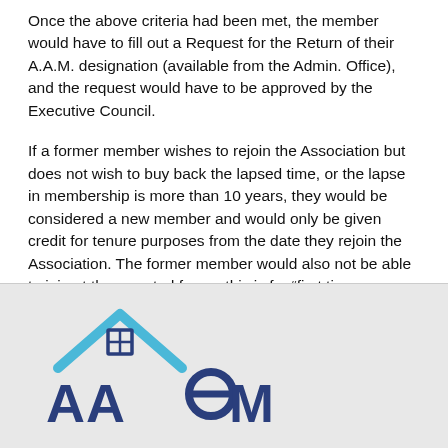Once the above criteria had been met, the member would have to fill out a Request for the Return of their A.A.M. designation (available from the Admin. Office), and the request would have to be approved by the Executive Council.
If a former member wishes to rejoin the Association but does not wish to buy back the lapsed time, or the lapse in membership is more than 10 years, they would be considered a new member and would only be given credit for tenure purposes from the date they rejoin the Association. The former member would also not be able to join at the prorated fee as this is for “first time members” only, as stipulated in the Constitution.
[Figure (logo): AAAM logo with a house roof icon above the letters AAAM, where the O in AAAM is a circular symbol. The roof is light blue and the text AAAM is dark navy blue.]